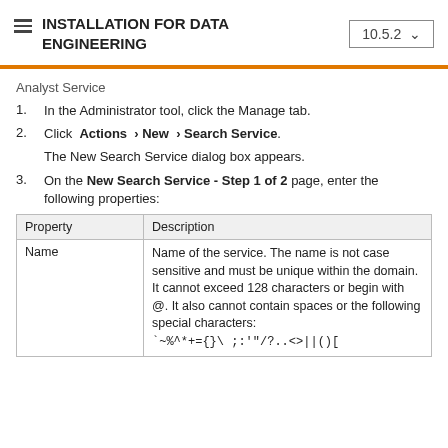INSTALLATION FOR DATA ENGINEERING  10.5.2
Analyst Service
1. In the Administrator tool, click the Manage tab.
2. Click  Actions › New › Search Service.
The New Search Service dialog box appears.
3. On the New Search Service - Step 1 of 2 page, enter the following properties:
| Property | Description |
| --- | --- |
| Name | Name of the service. The name is not case sensitive and must be unique within the domain. It cannot exceed 128 characters or begin with @. It also cannot contain spaces or the following special characters:
`~%^*+={}\ ;:'"/?..<>||()[ |